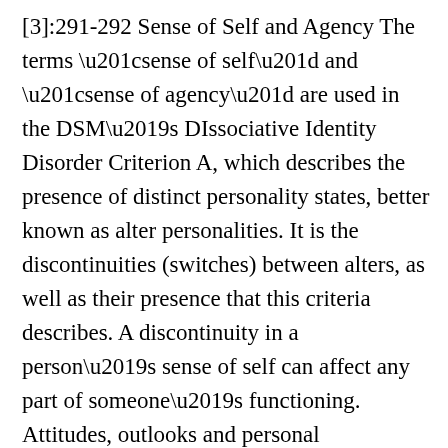[3]:291-292 Sense of Self and Agency The terms “sense of self” and “sense of agency” are used in the DSM’s DIssociative Identity Disorder Criterion A, which describes the presence of distinct personality states, better known as alter personalities. It is the discontinuities (switches) between alters, as well as their presence that this criteria describes. A discontinuity in a person’s sense of self can affect any part of someone’s functioning. Attitudes, outlooks and personal preferences like preferred foods or clothes may change suddenly and inexplicably, and then change back again. This happens because alter personalities have different attitudes, outlooks